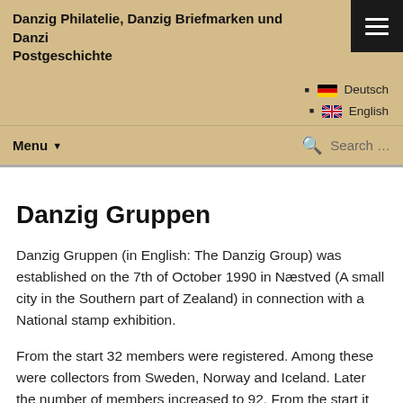Danzig Philatelie, Danzig Briefmarken und Danzig Postgeschichte
Deutsch
English
Danzig Gruppen
Danzig Gruppen (in English: The Danzig Group) was established on the 7th of October 1990 in Næstved (A small city in the Southern part of Zealand) in connection with a National stamp exhibition.
From the start 32 members were registered. Among these were collectors from Sweden, Norway and Iceland. Later the number of members increased to 92. From the start it